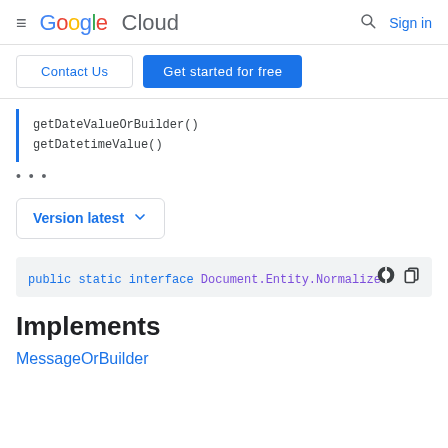Google Cloud | Sign in
Contact Us | Get started for free
getDateValueOrBuilder()
getDatetimeValue()
...
Version latest
public static interface Document.Entity.Normalize
Implements
MessageOrBuilder